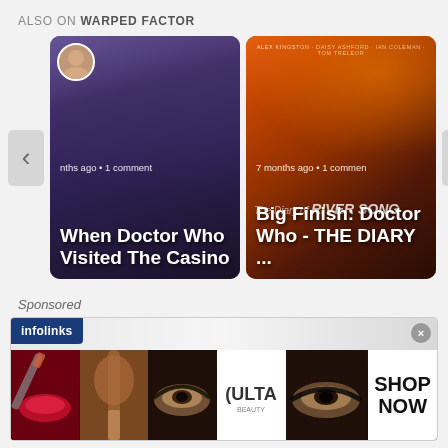ALSO ON WARPED FACTOR
[Figure (screenshot): Carousel of article cards: 'When Doctor Who Visited The Casino' (comic art) and 'Big Finish: Doctor Who - THE DIARY ...' (River Song cover art), with left/right navigation arrows]
Sponsored
[Figure (screenshot): Infolinks advertisement banner showing makeup/beauty images with ULTA beauty logo and SHOP NOW call to action]